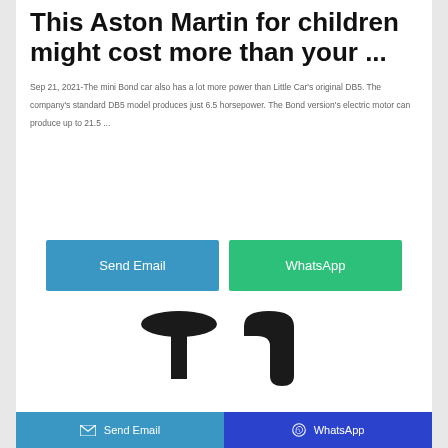This Aston Martin for children might cost more than your ...
Sep 21, 2021-The mini Bond car also has a lot more power than Little Car's original DB5. The company's standard DB5 model produces just 6.5 horsepower. The Bond version's electric motor can produce up to 21.5 ...
[Figure (other): Share via Send Email button (blue)]
[Figure (other): Share via WhatsApp button (green)]
[Figure (photo): Product image showing black chair armrests/handles at bottom of page]
Send Email   WhatsApp